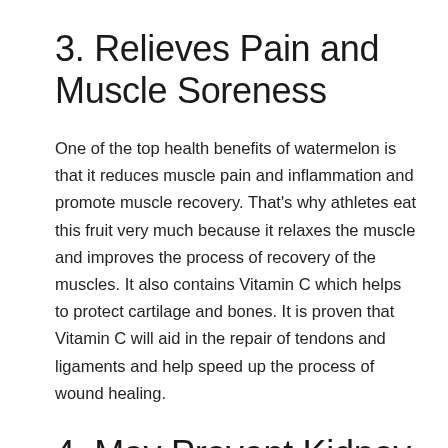3. Relieves Pain and Muscle Soreness
One of the top health benefits of watermelon is that it reduces muscle pain and inflammation and promote muscle recovery. That's why athletes eat this fruit very much because it relaxes the muscle and improves the process of recovery of the muscles. It also contains Vitamin C which helps to protect cartilage and bones. It is proven that Vitamin C will aid in the repair of tendons and ligaments and help speed up the process of wound healing.
4. May Prevent Kidney Stones
According to the studies, potassium helps a lot in